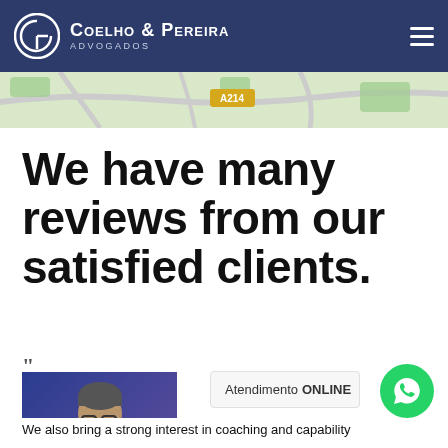Coelho & Pereira Advogados
[Figure (map): Street map showing road A214]
We have many reviews from our satisfied clients.
[Figure (photo): Professional headshot of a middle-aged man with glasses, wearing a dark suit, against a blue background]
Atendimento ONLINE
We also bring a strong interest in coaching and capability